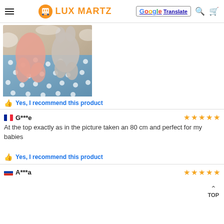LUX MARTZ
[Figure (photo): Baby and stuffed animal toy lying together on a fluffy surface with a blue dotted blanket]
Yes, I recommend this product
G***e — 5 stars — At the top exactly as in the picture taken an 80 cm and perfect for my babies
Yes, I recommend this product
A***a — 5 stars